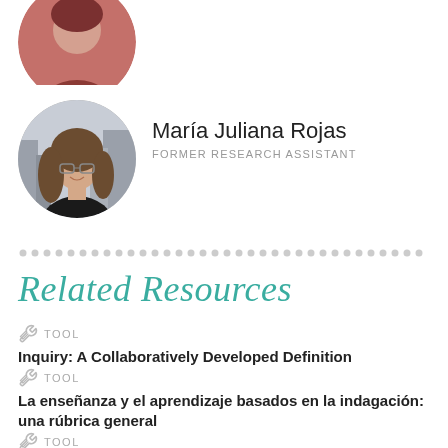[Figure (photo): Cropped circular photo of a person at the top, partially visible]
[Figure (photo): Circular portrait photo of María Juliana Rojas, a woman with glasses and long hair, wearing a black top, with city buildings in background]
María Juliana Rojas
FORMER RESEARCH ASSISTANT
Related Resources
TOOL
Inquiry: A Collaboratively Developed Definition
TOOL
La enseñanza y el aprendizaje basados en la indagación: una rúbrica general
TOOL